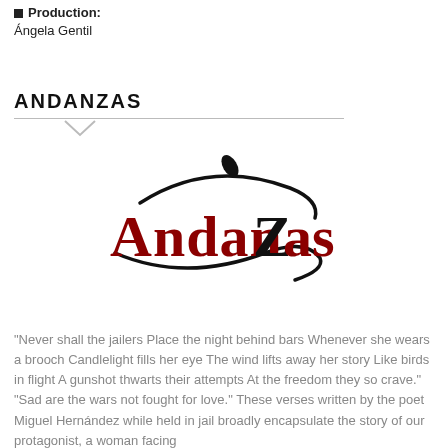Production: Ángela Gentil
ANDANZAS
[Figure (logo): Andanzas logo with stylized cursive text in dark red 'Andanzas' with a flowing black wave/swoosh design and a small leaf accent above]
"Never shall the jailers Place the night behind bars Whenever she wears a brooch Candlelight fills her eye The wind lifts away her story Like birds in flight A gunshot thwarts their attempts At the freedom they so crave." "Sad are the wars not fought for love." These verses written by the poet Miguel Hernández while held in jail broadly encapsulate the story of our protagonist, a woman facing